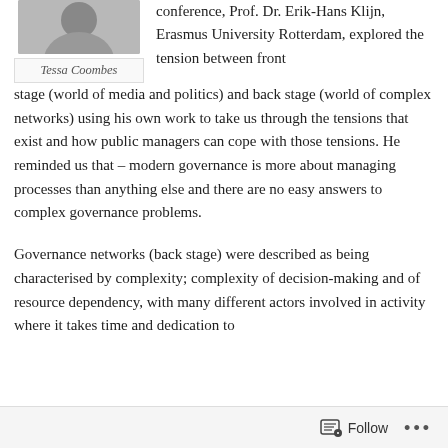[Figure (photo): Portrait photo of Tessa Coombes, partially visible at top]
Tessa Coombes
conference, Prof. Dr. Erik-Hans Klijn, Erasmus University Rotterdam, explored the tension between front stage (world of media and politics) and back stage (world of complex networks) using his own work to take us through the tensions that exist and how public managers can cope with those tensions. He reminded us that – modern governance is more about managing processes than anything else and there are no easy answers to complex governance problems.
Governance networks (back stage) were described as being characterised by complexity; complexity of decision-making and of resource dependency, with many different actors involved in activity where it takes time and dedication to
[Figure (other): Follow button with document icon and three dots menu at bottom bar]